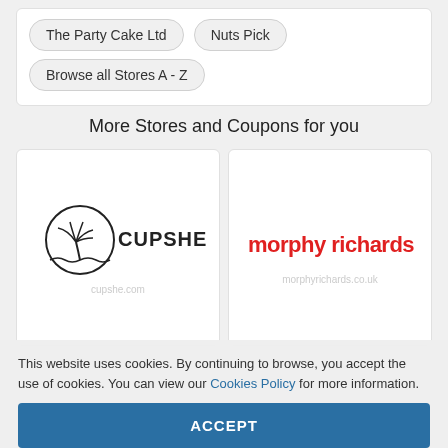The Party Cake Ltd
Nuts Pick
Browse all Stores A - Z
More Stores and Coupons for you
[Figure (logo): Cupshe logo — palm tree circle icon with CUPSHE text in black]
[Figure (logo): Morphy Richards logo in red lowercase rounded font]
This website uses cookies. By continuing to browse, you accept the use of cookies. You can view our Cookies Policy for more information.
ACCEPT